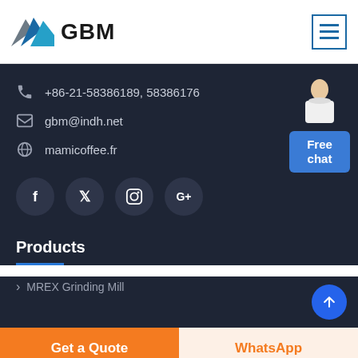[Figure (logo): GBM logo with mountain/chevron graphic in blue and grey, bold text GBM]
+86-21-58386189, 58386176
gbm@indh.net
mamicoffee.fr
[Figure (illustration): Social media icons: Facebook, Twitter, Instagram, Google+]
[Figure (illustration): Customer service representative with Free chat button]
Products
MREX Grinding Mill
Get a Quote
WhatsApp